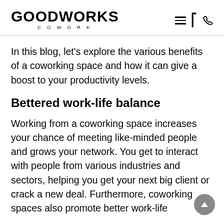GOODWORKS COWORK
In this blog, let's explore the various benefits of a coworking space and how it can give a boost to your productivity levels.
Bettered work-life balance
Working from a coworking space increases your chance of meeting like-minded people and grows your network. You get to interact with people from various industries and sectors, helping you get your next big client or crack a new deal. Furthermore, coworking spaces also promote better work-life